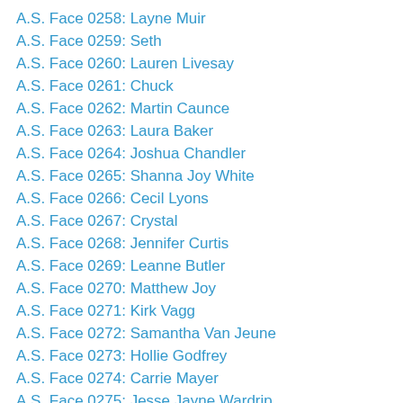A.S. Face 0258: Layne Muir
A.S. Face 0259: Seth
A.S. Face 0260: Lauren Livesay
A.S. Face 0261: Chuck
A.S. Face 0262: Martin Caunce
A.S. Face 0263: Laura Baker
A.S. Face 0264: Joshua Chandler
A.S. Face 0265: Shanna Joy White
A.S. Face 0266: Cecil Lyons
A.S. Face 0267: Crystal
A.S. Face 0268: Jennifer Curtis
A.S. Face 0269: Leanne Butler
A.S. Face 0270: Matthew Joy
A.S. Face 0271: Kirk Vagg
A.S. Face 0272: Samantha Van Jeune
A.S. Face 0273: Hollie Godfrey
A.S. Face 0274: Carrie Mayer
A.S. Face 0275: Jesse Jayne Wardrip
A.S. Face 0276: Margaret
A.S. Face 0277: Ricky White